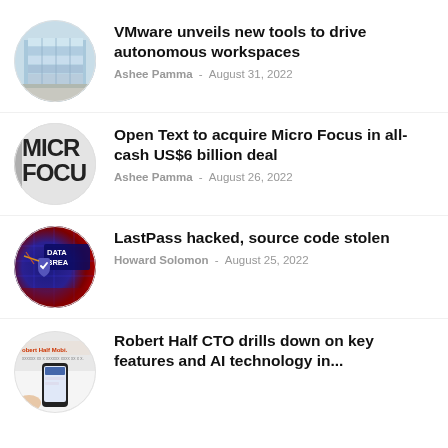[Figure (photo): Circular thumbnail of a glass building (VMware office/conference center)]
VMware unveils new tools to drive autonomous workspaces
Ashee Pamma - August 31, 2022
[Figure (photo): Circular thumbnail showing Micro Focus logo/sign]
Open Text to acquire Micro Focus in all-cash US$6 billion deal
Ashee Pamma - August 26, 2022
[Figure (photo): Circular thumbnail showing a data breach graphic with a shield icon]
LastPass hacked, source code stolen
Howard Solomon - August 25, 2022
[Figure (photo): Circular thumbnail showing Robert Half Mobile app on a smartphone]
Robert Half CTO drills down on key features and AI technology in...